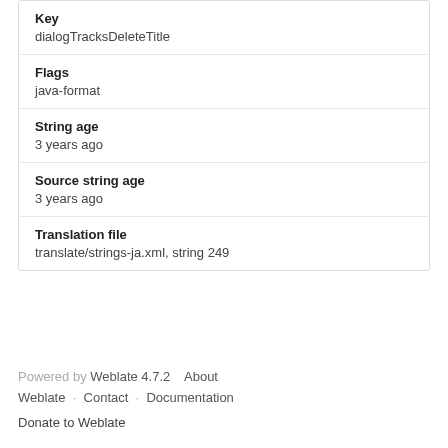| Key | dialogTracksDeleteTitle |
| Flags | java-format |
| String age | 3 years ago |
| Source string age | 3 years ago |
| Translation file | translate/strings-ja.xml, string 249 |
Powered by Weblate 4.7.2 · About Weblate · Contact · Documentation
Donate to Weblate